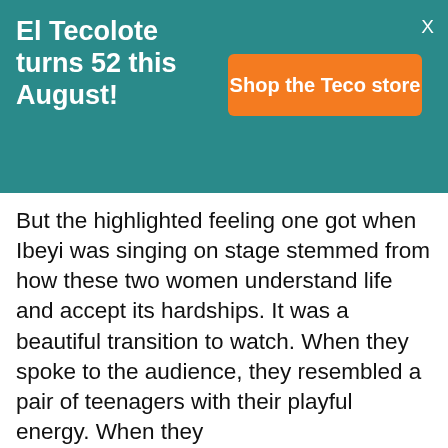El Tecolote turns 52 this August!
Shop the Teco store
But the highlighted feeling one got when Ibeyi was singing on stage stemmed from how these two women understand life and accept its hardships. It was a beautiful transition to watch. When they spoke to the audience, they resembled a pair of teenagers with their playful energy. When they [...]sense how [...] each other. [...]he audience [...] g, and [...] nd
Our site uses cookies. Learn more about our use of cookies: cookie policy
I ACCEPT USE OF COOKIES